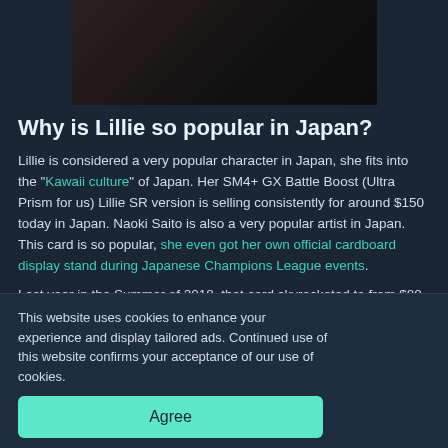[Figure (photo): Partial image of a character at the top of the page, dark background]
Why is Lillie so popular in Japan?
Lillie is considered a very popular character in Japan, she fits into the "Kawaii culture" of Japan. Her SM4+ GX Battle Boost (Ultra Prism for us) Lillie SR version is selling consistently for around $150 today in Japan. Naoki Saito is also a very popular artist in Japan. This card is so popular, she even got her own official cardboard display stand during Japanese Champions League events.
Last year in the Summer of 2018, that card skyrocketed to from $80 to $450 because it was suddenly a playable card and many new fans came. Even the Sun & Moon Base Set version of Lillie ...any Japanese ...GX Battle Boost ...t of SM8b GX ...released and ...
This website uses cookies to enhance your experience and display tailored ads. Continued use of this website confirms your acceptance of our use of cookies.